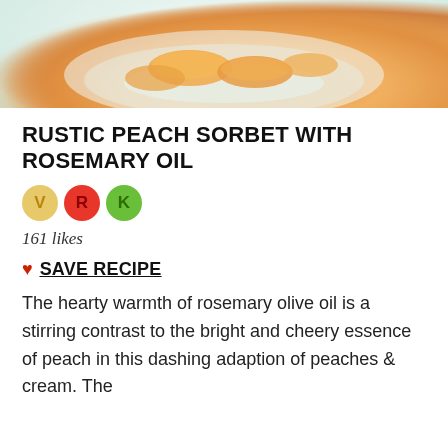[Figure (photo): Photo of peach sorbet in a light green/white bowl, viewed from above, with peach slices visible, on a light teal background]
RUSTIC PEACH SORBET WITH ROSEMARY OIL
[Figure (infographic): Three circular badges: V (yellow/gold, Vegan), R (red, symbol), K (green, Kosher)]
161 likes
♥ SAVE RECIPE
The hearty warmth of rosemary olive oil is a stirring contrast to the bright and cheery essence of peach in this dashing adaption of peaches & cream. The